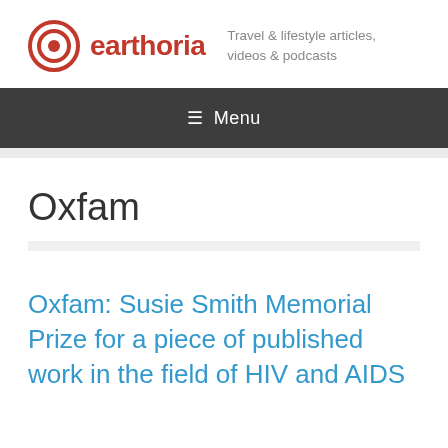earthoria — Travel & lifestyle articles, videos & podcasts
≡ Menu
Oxfam
Oxfam: Susie Smith Memorial Prize for a piece of published work in the field of HIV and AIDS